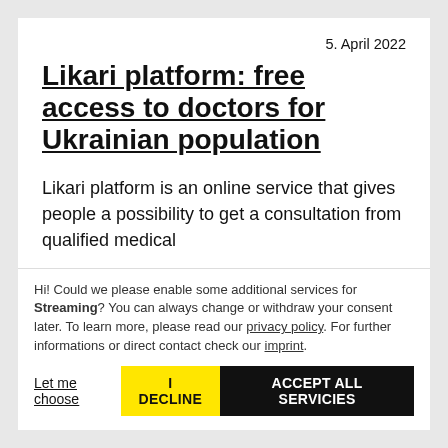5. April 2022
Likari platform: free access to doctors for Ukrainian population
Likari platform is an online service that gives people a possibility to get a consultation from qualified medical
Hi! Could we please enable some additional services for Streaming? You can always change or withdraw your consent later. To learn more, please read our privacy policy. For further informations or direct contact check our imprint.
Let me choose | I DECLINE | ACCEPT ALL SERVICIES